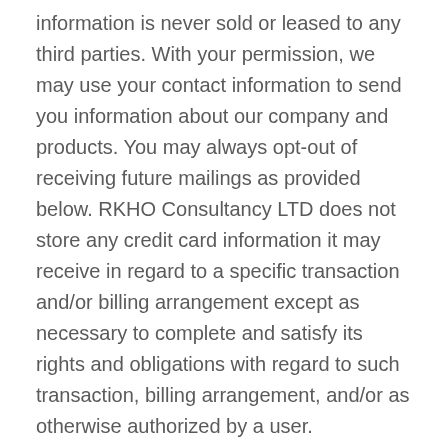information is never sold or leased to any third parties. With your permission, we may use your contact information to send you information about our company and products. You may always opt-out of receiving future mailings as provided below. RKHO Consultancy LTD does not store any credit card information it may receive in regard to a specific transaction and/or billing arrangement except as necessary to complete and satisfy its rights and obligations with regard to such transaction, billing arrangement, and/or as otherwise authorized by a user.
RKHO Consultancy LTD may disclose user information in special cases when we have reason to believe that disclosing this information is